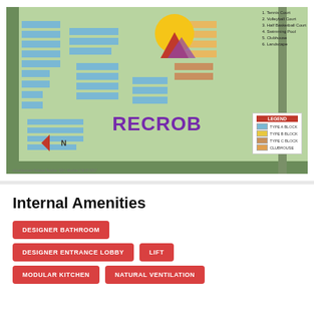[Figure (map): Site layout/master plan map of a residential housing project showing building blocks (Type A, B, C), roads, green areas, clubhouse, with a legend, north arrow, and RECROB watermark logo overlay. Legend shows TYPE A BLOCK (blue), TYPE B BLOCK (yellow), TYPE C BLOCK (brown), CLUBHOUSE. Numbered list on right: 1. Tennis Court, 2. Volleyball Court, 3. Half Basketball Court, 4. Swimming Pool, 5. Clubhouse, 6. Landscape.]
Internal Amenities
DESIGNER BATHROOM
DESIGNER ENTRANCE LOBBY
LIFT
MODULAR KITCHEN
NATURAL VENTILATION